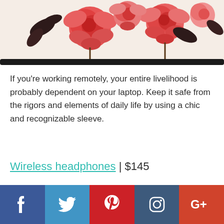[Figure (photo): Top portion of a floral-patterned laptop sleeve with pink and red roses on a cream background]
If you're working remotely, your entire livelihood is probably dependent on your laptop. Keep it safe from the rigors and elements of daily life by using a chic and recognizable sleeve.
Wireless headphones | $145
[Figure (photo): Bottom portion showing a light gray marble or stone surface with partial view of wireless headphones]
[Figure (infographic): Social share bar with Facebook, Twitter, Pinterest, Instagram, and Google+ buttons]